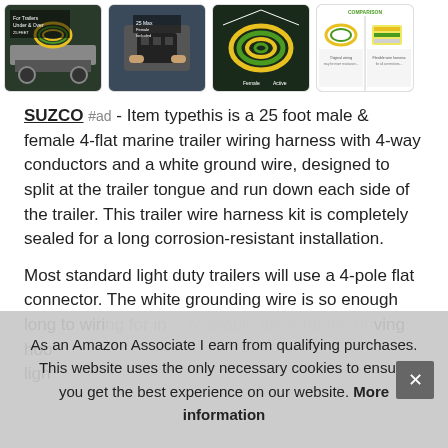[Figure (photo): Gallery of four product images showing marine trailer wiring harness, a hand holding a connector, coiled wires, and a comparison infographic]
SUZCO #ad - Item typethis is a 25 foot male & female 4-flat marine trailer wiring harness with 4-way conductors and a white ground wire, designed to split at the trailer tongue and run down each side of the trailer. This trailer wire harness kit is completely sealed for a long corrosion-resistant installation.
Most standard light duty trailers will use a 4-pole flat connector. The white grounding wire is so enough long to wiring for in... available allowing the driving hook... light...
As an Amazon Associate I earn from qualifying purchases. This website uses the only necessary cookies to ensure you get the best experience on our website. More information